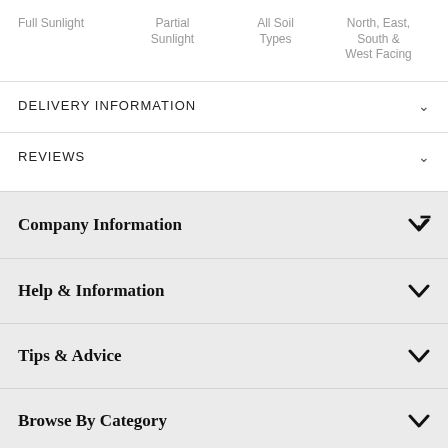Full Sunlight	Partial Sunlight	All Soil Types	North, East, South & West Facing
DELIVERY INFORMATION
REVIEWS
Company Information
Help & Information
Tips & Advice
Browse By Category